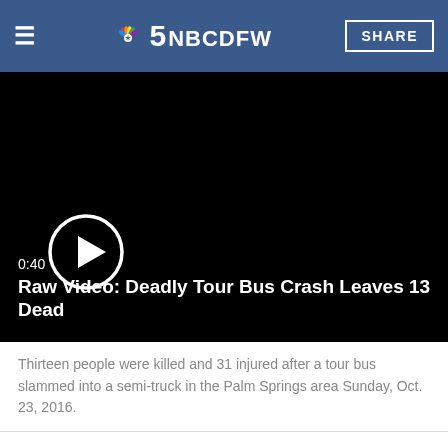NBC5 NBCDFW SHARE
[Figure (screenshot): Black video player with white play button circle. Shows timestamp 0:40 and title 'Raw Video: Deadly Tour Bus Crash Leaves 13 Dead']
Thirteen people were killed and 31 injured after a tour bus slammed into a semi-truck in the Palm Springs area Sunday, Oct. 23, 2016.
In a horrific early morning crash, a tour bus slammed into the back of a truck on Interstate 10 north of Palm Springs before